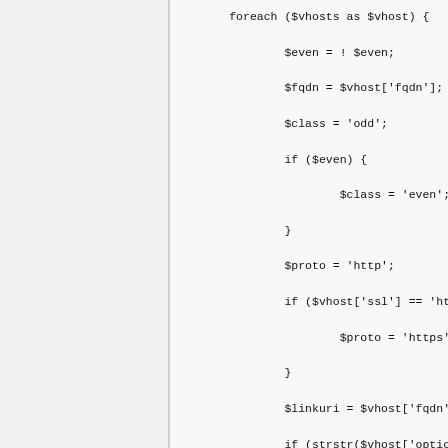foreach ($vhosts as $vhost) {
        $even = ! $even;
        $fqdn = $vhost['fqdn'];
        $class = 'odd';
        if ($even) {
                $class = 'even';
        }
        $proto = 'http';
        if ($vhost['ssl'] == 'https' || $vhost['s
                $proto = 'https';
        }
        $linkuri = $vhost['fqdn'];
        if (strstr($vhost['options'], 'aliaswww')
                $linkuri = "www.".$vhost['fqdn'];
        }
        output("<tr class=\"{$class}\"><td>".inte
gen bearbeiten"')."</td><td><a href=\"{$proto}://{
> ".internal_link('save', icon_delete("»{$vhost['f
>");
        $aliases = get_all_aliases($vhost);
        $tmp = '';
        if (count($aliases) > 0) {
                foreach ($aliases as $alias) {
                        $tmp .= $alias['fqdn'].'<br />';